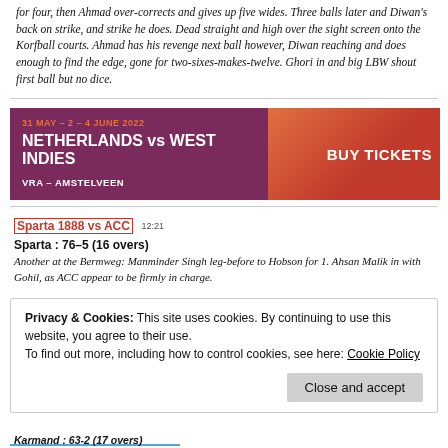for four, then Ahmad over-corrects and gives up five wides. Three balls later and Diwan's back on strike, and strike he does. Dead straight and high over the sight screen onto the Korfball courts. Ahmad has his revenge next ball however, Diwan reaching and does enough to find the edge, gone for two-sixes-makes-twelve. Ghori in and big LBW shout first ball but no dice.
[Figure (infographic): Banner ad: 31 MAY - 2 - 4 JUNE 2022, NETHERLANDS vs WEST INDIES, VRA - AMSTELVEEN, BUY TICKETS on dark red/maroon background with cricket action photo]
Sparta 1888 vs ACC 12:21
Spartha : 76-5 (16 overs)
Another at the Bermweg: Manminder Singh leg-before to Hobson for 1. Ahsan Malik in with Gohil, as ACC appear to be firmly in charge.
Privacy & Cookies: This site uses cookies. By continuing to use this website, you agree to their use.
To find out more, including how to control cookies, see here: Cookie Policy
Close and accept
Karmand : 63-2 (17 overs)